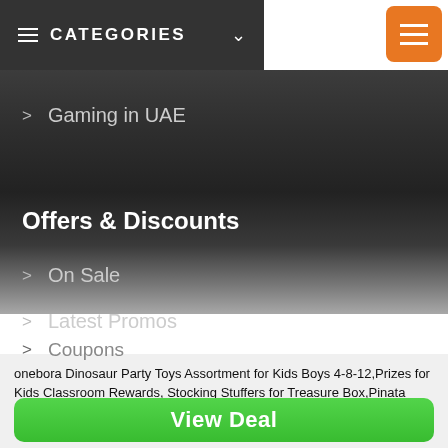CATEGORIES
Gaming in UAE
Offers & Discounts
On Sale
Latest Promos
Coupons
onebora Dinosaur Party Toys Assortment for Kids Boys 4-8-12,Prizes for Kids Classroom Rewards, Stocking Stuffers for Treasure Box,Pinata Fillers Toys
View Deal